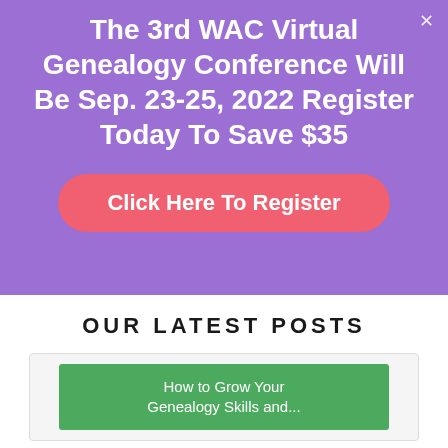The 3rd WAC Virtual Genealogy Conference Will Be Sep. 23-25, 2022 Register Today To Save $35
Click Here To Register
OUR LATEST POSTS
[Figure (other): Card with green banner showing partial text: How to Grow Your Genealogy Skills and...]